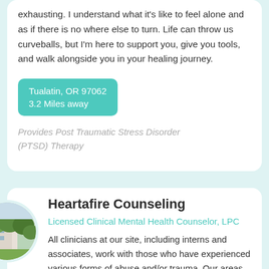exhausting. I understand what it's like to feel alone and as if there is no where else to turn. Life can throw us curveballs, but I'm here to support you, give you tools, and walk alongside you in your healing journey.
Tualatin, OR 97062
3.2 Miles away
Provides Post Traumatic Stress Disorder (PTSD) Therapy
[Figure (photo): Circular profile photo of a building exterior surrounded by green trees]
Heartafire Counseling
Licensed Clinical Mental Health Counselor, LPC
All clinicians at our site, including interns and associates, work with those who have experienced various forms of abuse and/or trauma. Our areas of specialty include postpartum care, first-responder trauma, spiritual and/or religious abuse and